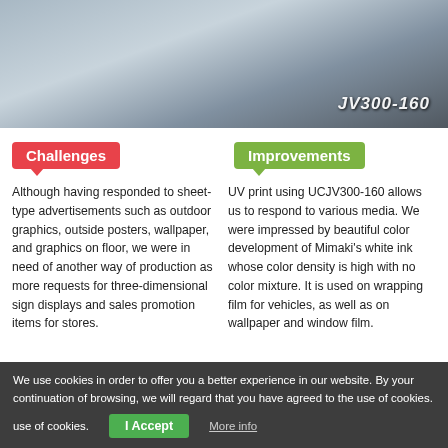[Figure (photo): Photo of a person in white jacket standing next to a Mimaki UCJV300-160 printer with rolls of material]
Challenges
Improvements
Although having responded to sheet-type advertisements such as outdoor graphics, outside posters, wallpaper, and graphics on floor, we were in need of another way of production as more requests for three-dimensional sign displays and sales promotion items for stores.
UV print using UCJV300-160 allows us to respond to various media. We were impressed by beautiful color development of Mimaki's white ink whose color density is high with no color mixture. It is used on wrapping film for vehicles, as well as on wallpaper and window film.
| Product installed |  |
| --- | --- |
| Product installed | UCJV300 Series |
Contact us
We use cookies in order to offer you a better experience in our website. By your continuation of browsing, we will regard that you have agreed to the use of cookies.
I Accept
More info